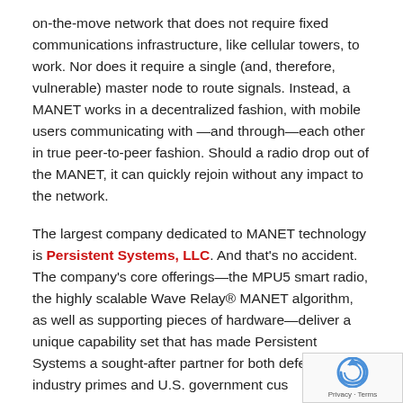on-the-move network that does not require fixed communications infrastructure, like cellular towers, to work. Nor does it require a single (and, therefore, vulnerable) master node to route signals. Instead, a MANET works in a decentralized fashion, with mobile users communicating with —and through—each other in true peer-to-peer fashion. Should a radio drop out of the MANET, it can quickly rejoin without any impact to the network.
The largest company dedicated to MANET technology is Persistent Systems, LLC. And that's no accident. The company's core offerings—the MPU5 smart radio, the highly scalable Wave Relay® MANET algorithm, as well as supporting pieces of hardware—deliver a unique capability set that has made Persistent Systems a sought-after partner for both defense industry primes and U.S. government cus[tomers]
[Figure (other): Google reCAPTCHA badge with circular arrow logo and Privacy · Terms text]